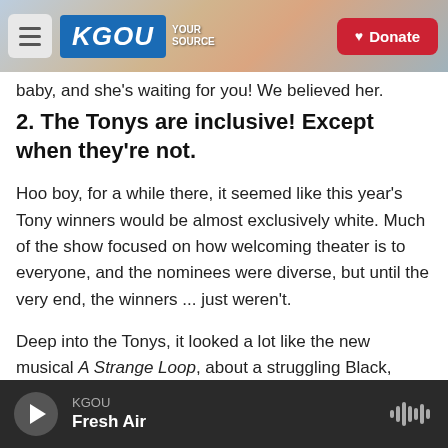KGOU — Your Source [Donate]
baby, and she's waiting for you!  We believed her.
2. The Tonys are inclusive! Except when they're not.
Hoo boy, for a while there, it seemed like this year's Tony winners would be almost exclusively white. Much of the show focused on how welcoming theater is to everyone, and the nominees were diverse, but until the very end, the winners ... just weren't.
Deep into the Tonys, it looked a lot like the new musical A Strange Loop, about a struggling Black,
KGOU — Fresh Air